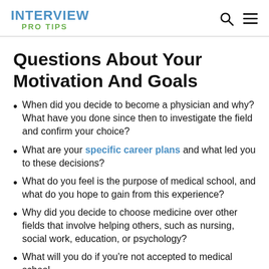INTERVIEW PRO TIPS
Questions About Your Motivation And Goals
When did you decide to become a physician and why? What have you done since then to investigate the field and confirm your choice?
What are your specific career plans and what led you to these decisions?
What do you feel is the purpose of medical school, and what do you hope to gain from this experience?
Why did you decide to choose medicine over other fields that involve helping others, such as nursing, social work, education, or psychology?
What will you do if you're not accepted to medical school